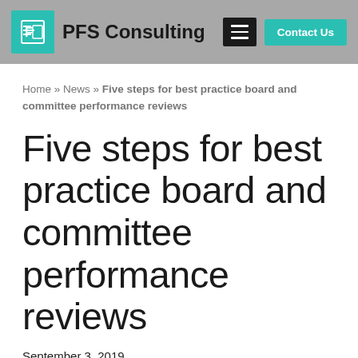PFS Consulting
Home » News » Five steps for best practice board and committee performance reviews
Five steps for best practice board and committee performance reviews
September 3, 2019